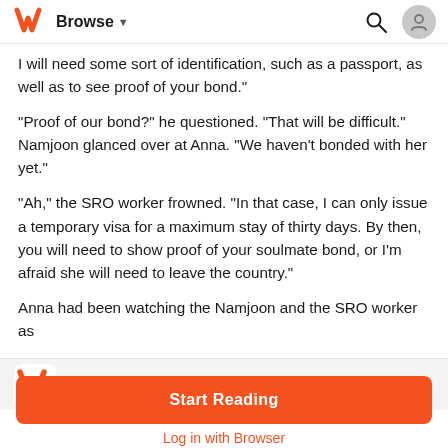Browse
I will need some sort of identification, such as a passport, as well as to see proof of your bond."
"Proof of our bond?" he questioned. "That will be difficult." Namjoon glanced over at Anna. "We haven't bonded with her yet."
"Ah," the SRO worker frowned. "In that case, I can only issue a temporary visa for a maximum stay of thirty days. By then, you will need to show proof of your soulmate bond, or I'm afraid she will need to leave the country."
Anna had been watching the Namjoon and the SRO worker as
Wattpad App - Read, Write, Connect
Start Reading
Log in with Browser